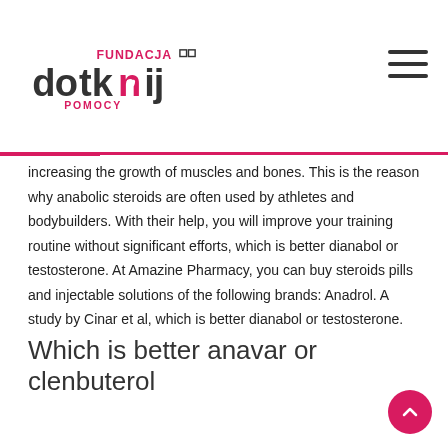Fundacja Dotknij Pomocy
increasing the growth of muscles and bones. This is the reason why anabolic steroids are often used by athletes and bodybuilders. With their help, you will improve your training routine without significant efforts, which is better dianabol or testosterone. At Amazine Pharmacy, you can buy steroids pills and injectable solutions of the following brands: Anadrol. A study by Cinar et al, which is better dianabol or testosterone.
Which is better anavar or clenbuterol